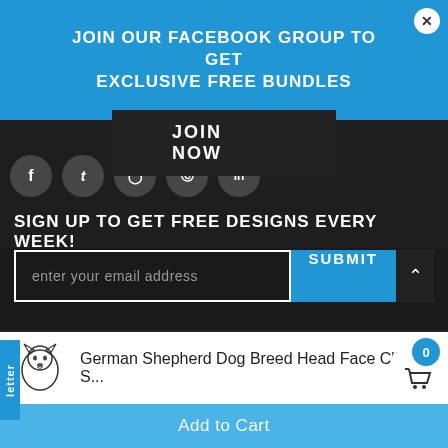JOIN OUR FACEBOOK GROUP TO GET EXCLUSIVE FREE BUNDLES
JOIN NOW
SIGN UP TO GET FREE DESIGNS EVERY WEEK!
enter your email address
SUBMIT
letter
Copyright © 2018 ClipArtSVG Inc.
0
German Shepherd Dog Breed Head Face ClipArt S...
Add to Cart